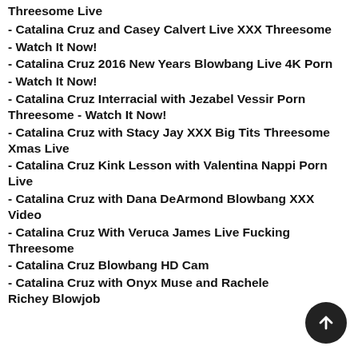Threesome Live
- Catalina Cruz and Casey Calvert Live XXX Threesome
- Watch It Now!
- Catalina Cruz 2016 New Years Blowbang Live 4K Porn
- Watch It Now!
- Catalina Cruz Interracial with Jezabel Vessir Porn Threesome - Watch It Now!
- Catalina Cruz with Stacy Jay XXX Big Tits Threesome Xmas Live
- Catalina Cruz Kink Lesson with Valentina Nappi Porn Live
- Catalina Cruz with Dana DeArmond Blowbang XXX Video
- Catalina Cruz With Veruca James Live Fucking Threesome
- Catalina Cruz Blowbang HD Cam
- Catalina Cruz with Onyx Muse and Rachele Richey Blowjob